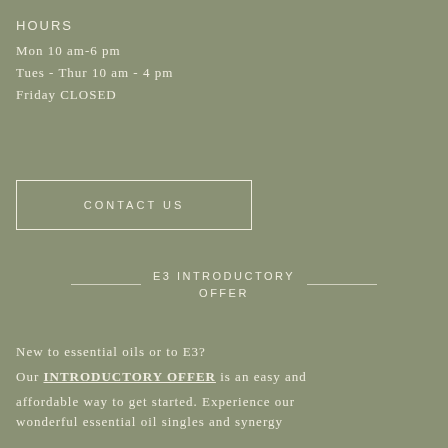HOURS
Mon 10 am-6 pm
Tues - Thur 10 am - 4 pm
Friday CLOSED
CONTACT US
E3 INTRODUCTORY OFFER
New to essential oils or to E3? Our INTRODUCTORY OFFER is an easy and affordable way to get started. Experience our wonderful essential oil singles and synergy